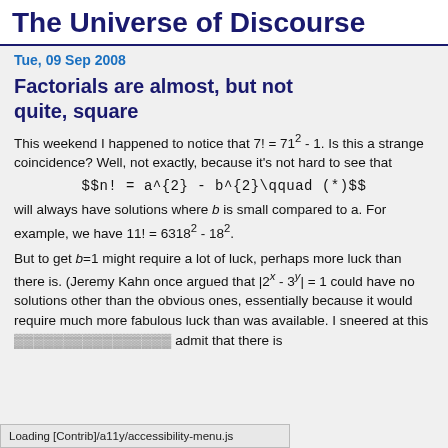The Universe of Discourse
Tue, 09 Sep 2008
Factorials are almost, but not quite, square
This weekend I happened to notice that 7! = 71² - 1. Is this a strange coincidence? Well, not exactly, because it's not hard to see that
will always have solutions where b is small compared to a. For example, we have 11! = 6318² - 18².
But to get b=1 might require a lot of luck, perhaps more luck than there is. (Jeremy Kahn once argued that |2^x - 3^y| = 1 could have no solutions other than the obvious ones, essentially because it would require much more fabulous luck than was available. I sneered at this ... admit that there is
Loading [Contrib]/a11y/accessibility-menu.js